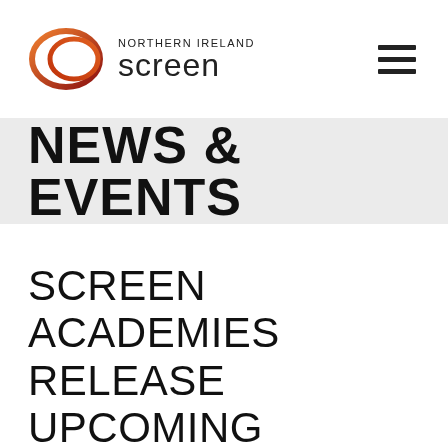[Figure (logo): Northern Ireland Screen logo with orange/red gradient oval shape and text 'NORTHERN IRELAND screen']
NEWS & EVENTS
SCREEN ACADEMIES RELEASE UPCOMING PROGRAMMES